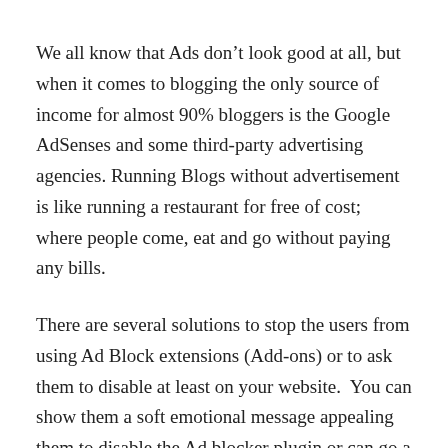We all know that Ads don’t look good at all, but when it comes to blogging the only source of income for almost 90% bloggers is the Google AdSenses and some third-party advertising agencies. Running Blogs without advertisement is like running a restaurant for free of cost; where people come, eat and go without paying any bills.
There are several solutions to stop the users from using Ad Block extensions (Add-ons) or to ask them to disable at least on your website.  You can show them a soft emotional message appealing them to disable the Ad blocker plugin or can go a step ahead and force them to disable or whitelist your website.